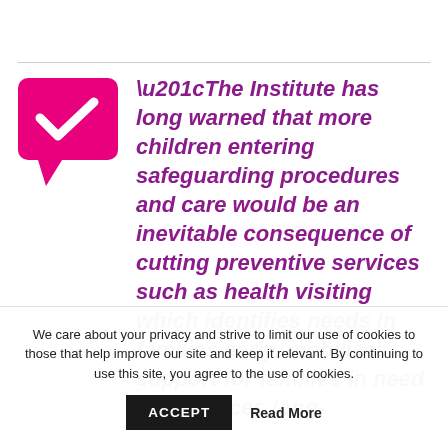[Figure (illustration): Pink speech bubble with a white checkmark icon inside]
“The Institute has long warned that more children entering safeguarding procedures and care would be an inevitable consequence of cutting preventive services such as health visiting which identifies needs in families early, mobilises support for families in need and reduces long-
We care about your privacy and strive to limit our use of cookies to those that help improve our site and keep it relevant. By continuing to use this site, you agree to the use of cookies.
ACCEPT
Read More